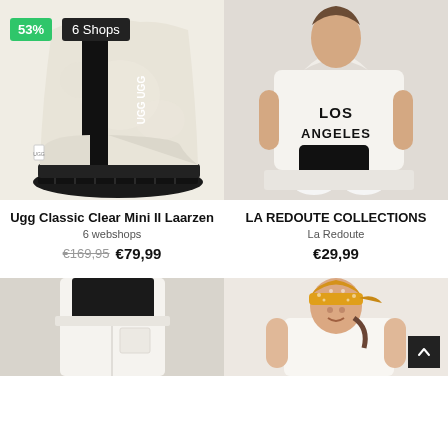[Figure (photo): UGG Classic Clear Mini II Laarzen boot with black UGG branding band, cream/natural color, black sole. Green badge showing 53% discount and dark badge showing 6 Shops.]
[Figure (photo): LA REDOUTE COLLECTIONS: Woman wearing a white hoodie with 'LOS ANGELES' text, black shorts, white sneakers, sitting on white surface against light background.]
Ugg Classic Clear Mini II Laarzen
6 webshops
€169,95  €79,99
LA REDOUTE COLLECTIONS
La Redoute
€29,99
[Figure (photo): Person wearing white wide-leg cargo pants with a black long-sleeve top, cropped view showing lower body.]
[Figure (photo): Young woman wearing a yellow/mustard knitted beanie hat tied at the back, white sleeveless top, smiling, seated.]